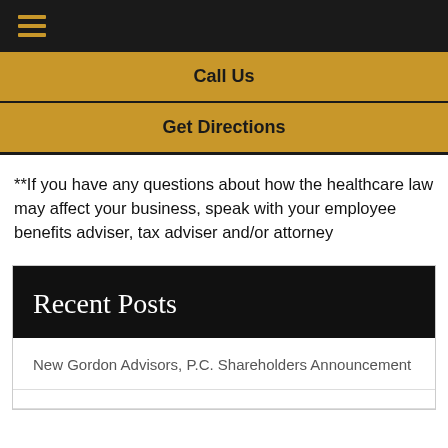≡ (hamburger menu)
Call Us
Get Directions
**If you have any questions about how the healthcare law may affect your business, speak with your employee benefits adviser, tax adviser and/or attorney
Recent Posts
New Gordon Advisors, P.C. Shareholders Announcement